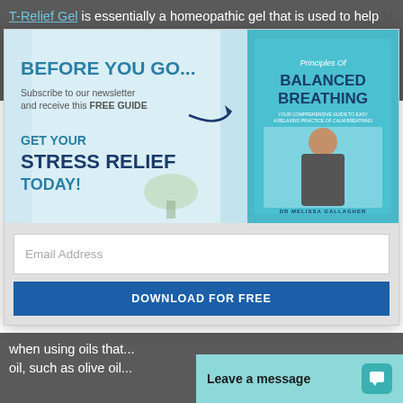T-Relief Gel is essentially a homeopathic gel that is used to help reduce inflammation and pain. T-Relief Gel helps with flare-ups...
[Figure (infographic): Newsletter popup advertisement showing 'BEFORE YOU GO..' with a book titled 'Principles Of BALANCED BREATHING' by Dr. Melissa Gallagher, with text 'Subscribe to our newsletter and receive this FREE GUIDE' and 'GET YOUR STRESS RELIEF TODAY!']
Email Address
DOWNLOAD FOR FREE
when using oils that... oil, such as olive oil...
Leave a message